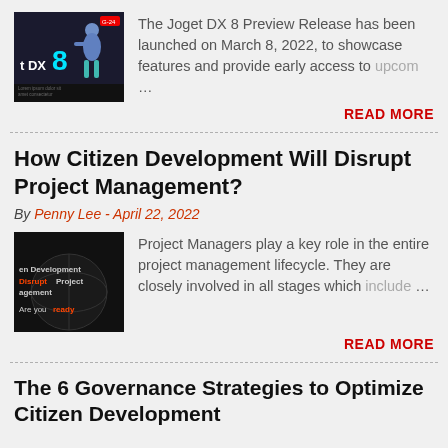[Figure (illustration): Joget DX 8 logo image with teal '8' numeral and person figure on dark background]
The Joget DX 8 Preview Release has been launched on March 8, 2022, to showcase features and provide early access to upcom …
READ MORE
How Citizen Development Will Disrupt Project Management?
By Penny Lee - April 22, 2022
[Figure (illustration): Dark background image with text 'Citizen Development Disrupt Project Management Are you ready']
Project Managers play a key role in the entire project management lifecycle. They are closely involved in all stages which include …
READ MORE
The 6 Governance Strategies to Optimize Citizen Development